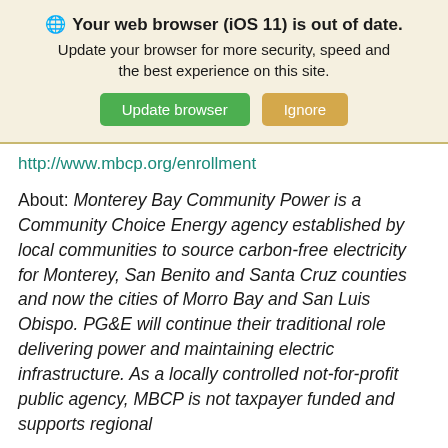[Figure (screenshot): Browser update warning banner with globe icon, bold title 'Your web browser (iOS 11) is out of date.', subtitle text, and two buttons: 'Update browser' (green) and 'Ignore' (tan/gold)]
http://www.mbcp.org/enrollment
About: Monterey Bay Community Power is a Community Choice Energy agency established by local communities to source carbon-free electricity for Monterey, San Benito and Santa Cruz counties and now the cities of Morro Bay and San Luis Obispo. PG&E will continue their traditional role delivering power and maintaining electric infrastructure. As a locally controlled not-for-profit public agency, MBCP is not taxpayer funded and supports regional